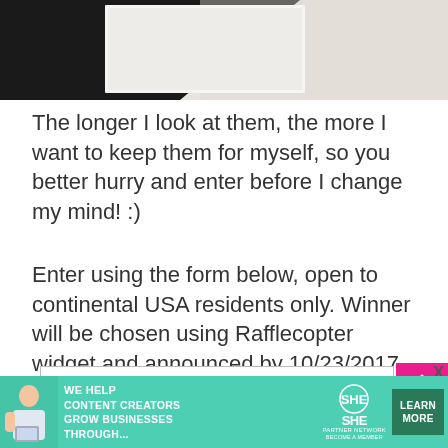[Figure (photo): Top portion of a photo showing black and white fabric/textile material, cropped at the bottom]
The longer I look at them, the more I want to keep them for myself, so you better hurry and enter before I change my mind! :)
Enter using the form below, open to continental USA residents only. Winner will be chosen using Rafflecopter widget and announced by 10/23/2017.
[Figure (screenshot): Rafflecopter widget entry form with input field and pink button with arrow]
[Figure (infographic): SHE Media Partner Network advertisement banner: 'We help content creators grow businesses through...' with Learn More button]